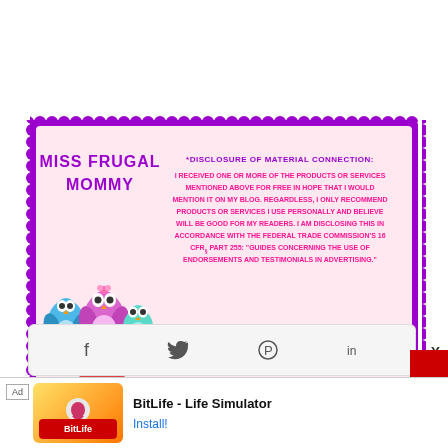[Figure (infographic): Miss Frugal Mommy disclosure banner with purple scalloped border, owl illustrations, brand name, and FTC disclosure text in pink on light pink background.]
Sharing is caring!
[Figure (infographic): Social sharing icons row: Twitter (blue bird), Facebook (blue f), Pinterest (red P), Email (grey envelope), Other (green circular arrows)]
[Figure (infographic): Bottom share bar with Facebook, Twitter, Pinterest, LinkedIn icons, and close X button and red circle]
[Figure (infographic): Ad banner: BitLife - Life Simulator app advertisement with Install button]